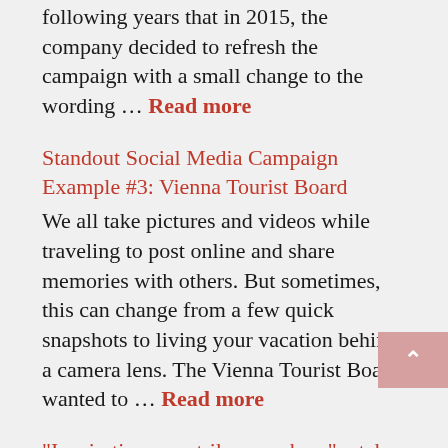following years that in 2015, the company decided to refresh the campaign with a small change to the wording … Read more
Standout Social Media Campaign Example #3: Vienna Tourist Board
We all take pictures and videos while traveling to post online and share memories with others. But sometimes, this can change from a few quick snapshots to living your vacation behind a camera lens. The Vienna Tourist Board wanted to … Read more
“Inspiration can strike anywhere” – take it from Creative Director Laurie Hix
It’s not every day you get to hear from the leadership at your company. Thankfully, here at Brogan, we have an open-door policy that allows us to communicate freely with anyone, no matter their career level. Have you ever